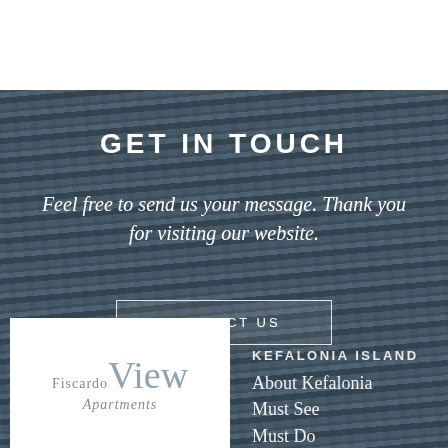GET IN TOUCH
Feel free to send us your message. Thank you for visiting our website.
CONTACT US
[Figure (logo): Fiscardo View Apartments logo — white box with 'Fiscardo' in small grey serif, 'View' in large light-blue serif, 'Apartments' in small grey italic serif]
KEFALONIA ISLAND
About Kefalonia
Must See
Must Do